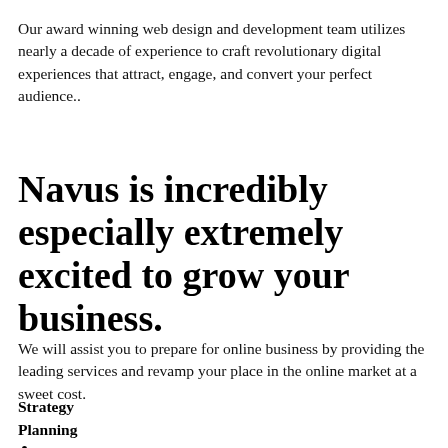Our award winning web design and development team utilizes nearly a decade of experience to craft revolutionary digital experiences that attract, engage, and convert your perfect audience..
Navus is incredibly especially extremely excited to grow your business.
We will assist you to prepare for online business by providing the leading services and revamp your place in the online market at a sweet cost.
Strategy
Planning
Marketing